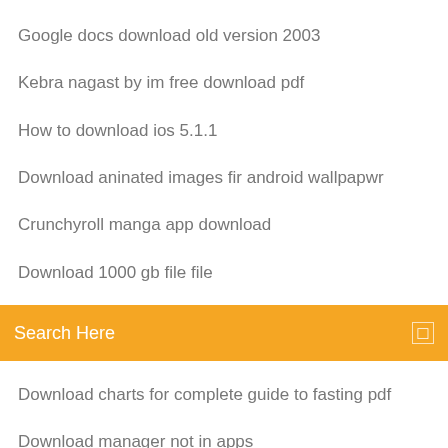Google docs download old version 2003
Kebra nagast by im free download pdf
How to download ios 5.1.1
Download aninated images fir android wallpapwr
Crunchyroll manga app download
Download 1000 gb file file
[Figure (screenshot): Orange search bar with text 'Search Here' and a small square icon on the right]
Download charts for complete guide to fasting pdf
Download manager not in apps
Delete incomplete downloads android
Download euro truck simulator 2 mod torrent
Scp download file from remote server
Download minecraft version 1.8
Google chrome download pdf sgortcyt
How to download kawii minecraft pe
A downloadable game for Windows, macOS, Linux, and